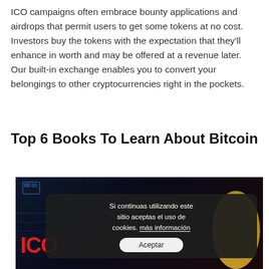ICO campaigns often embrace bounty applications and airdrops that permit users to get some tokens at no cost. Investors buy the tokens with the expectation that they'll enhance in worth and may be offered at a revenue later. Our built-in exchange enables you to convert your belongings to other cryptocurrencies right in the pockets.
Top 6 Books To Learn About Bitcoin
[Figure (screenshot): Screenshot of a video or webpage about ICO, showing a dark background with 'ICO' text in red on the left and a person on the right, with a cookie consent overlay in Spanish reading 'Si continuas utilizando este sitio aceptas el uso de cookies. más información' and an 'Aceptar' button.]